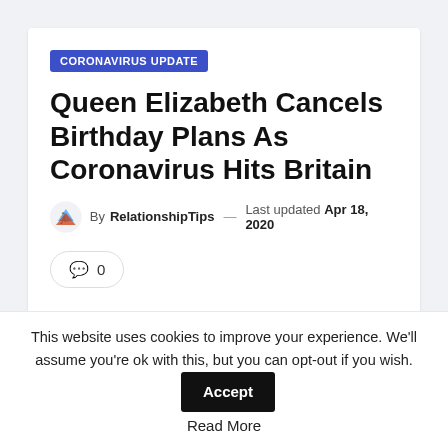CORONAVIRUS UPDATE
Queen Elizabeth Cancels Birthday Plans As Coronavirus Hits Britain
By RelationshipTips — Last updated Apr 18, 2020
💬 0
Share
This website uses cookies to improve your experience. We'll assume you're ok with this, but you can opt-out if you wish. Accept Read More